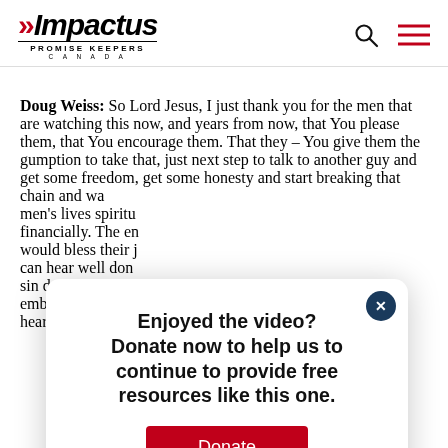Impactus Promise Keepers Canada
Doug Weiss: So Lord Jesus, I just thank you for the men that are watching this now, and years from now, that You please them, that You encourage them. That they – You give them the gumption to take that, just next step to talk to another guy and get some freedom, get some honesty and start breaking that chain and wa[tch] men's lives spiritu[ally and] financially. The en[emy] would bless their j[ourneys] can hear well don[e,] sin doesn't separa[te,] embrace healing, [in] heart and life. The[…]
[Figure (screenshot): Modal popup overlay with text 'Enjoyed the video? Donate now to help us to continue to provide free resources like this one.' and a red Donate button, with a dark blue close (X) button in the top right corner.]